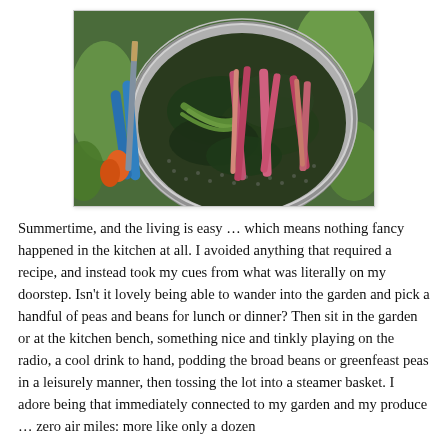[Figure (photo): Overhead view of a metal colander/steamer basket filled with fresh garden vegetables including green beans, rhubarb stalks, and dark leafy greens, set on grass. A pair of scissors with orange handles and a knife are visible beside the bowl.]
Summertime, and the living is easy … which means nothing fancy happened in the kitchen at all. I avoided anything that required a recipe, and instead took my cues from what was literally on my doorstep. Isn't it lovely being able to wander into the garden and pick a handful of peas and beans for lunch or dinner? Then sit in the garden or at the kitchen bench, something nice and tinkly playing on the radio, a cool drink to hand, podding the broad beans or greenfeast peas in a leisurely manner, then tossing the lot into a steamer basket. I adore being that immediately connected to my garden and my produce … zero air miles: more like only a dozen